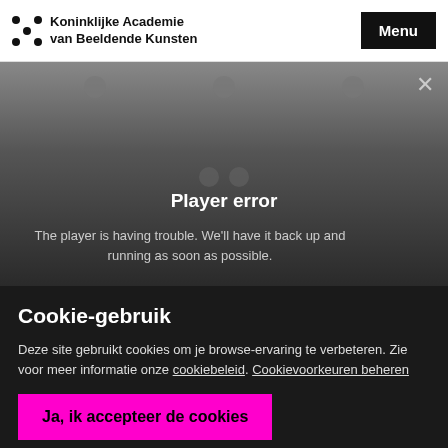Koninklijke Academie van Beeldende Kunsten | Menu
[Figure (screenshot): Video player error screen with grey gradient background, three decorative grey circles at top, a close X button top-right, and centered white text: 'Player error' and 'The player is having trouble. We'll have it back up and running as soon as possible.']
Cookie-gebruik
Deze site gebruikt cookies om je browse-ervaring te verbeteren. Zie voor meer informatie onze cookiebeleid. Cookievoorkeuren beheren
Ja, ik accepteer de cookies